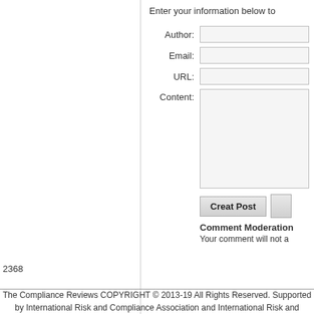Enter your information below to
Author:
Email:
URL:
Content:
Creat Post
Comment Moderation
Your comment will not a
2368
The Compliance Reviews COPYRIGHT © 2013-19 All Rights Reserved. Supported by International Risk and Compliance Association and International Risk and